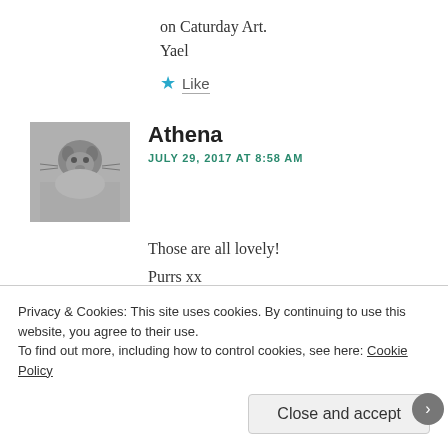on Caturday Art.
Yael
★ Like
Athena
JULY 29, 2017 AT 8:58 AM
Those are all lovely!
Purrs xx
Privacy & Cookies: This site uses cookies. By continuing to use this website, you agree to their use.
To find out more, including how to control cookies, see here: Cookie Policy
Close and accept